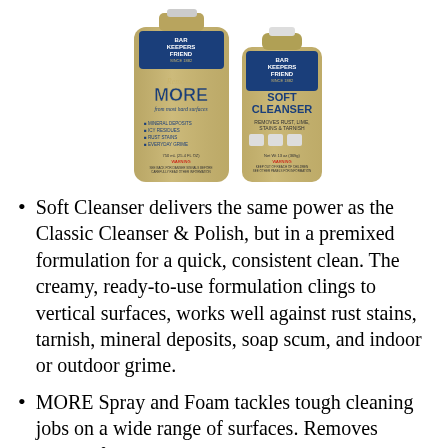[Figure (photo): Two Bar Keepers Friend product bottles: a tall spray bottle labeled 'Removes MORE from most hard surfaces' (750ml) and a shorter squeeze bottle labeled 'Soft Cleanser - Removes Rust, Lime, Stains & Tarnish'. Both bottles are gold/tan colored with blue accents.]
Soft Cleanser delivers the same power as the Classic Cleanser & Polish, but in a premixed formulation for a quick, consistent clean. The creamy, ready-to-use formulation clings to vertical surfaces, works well against rust stains, tarnish, mineral deposits, soap scum, and indoor or outdoor grime.
MORE Spray and Foam tackles tough cleaning jobs on a wide range of surfaces. Removes MORE from most